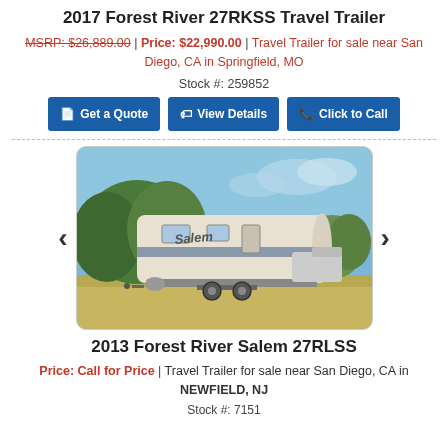2017 Forest River 27RKSS Travel Trailer
MSRP: $26,889.00 | Price: $22,990.00 | Travel Trailer for sale near San Diego, CA in Springfield, MO
Stock #: 259852
Get a Quote | View Details | Click to Call
[Figure (photo): Photo of a 2013 Forest River Salem 27RLSS travel trailer parked outdoors on gravel, with trees and blue sky in the background. The trailer is white with Salem branding on the side.]
2013 Forest River Salem 27RLSS
Price: Call for Price | Travel Trailer for sale near San Diego, CA in NEWFIELD, NJ
Stock #: 7151